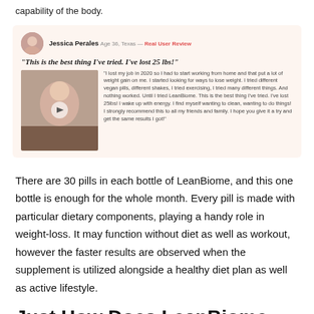capability of the body.
[Figure (screenshot): User review box with profile photo of Jessica Perales, age 36, Texas. Labeled 'Real User Review'. Quote: 'This is the best thing I've tried. I've lost 25 lbs!' Followed by a video thumbnail of a woman and a text testimonial about losing weight with LeanBiome.]
There are 30 pills in each bottle of LeanBiome, and this one bottle is enough for the whole month. Every pill is made with particular dietary components, playing a handy role in weight-loss. It may function without diet as well as workout, however the faster results are observed when the supplement is utilized alongside a healthy diet plan as well as active lifestyle.
Just How Does LeanBiome Help in Weight Management?
LeanBiome is the effective solution that directly addresses the